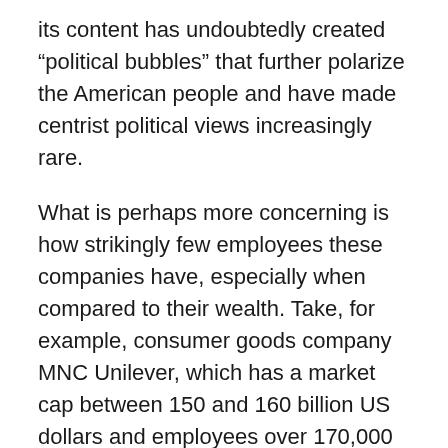its content has undoubtedly created “political bubbles” that further polarize the American people and have made centrist political views increasingly rare.
What is perhaps more concerning is how strikingly few employees these companies have, especially when compared to their wealth. Take, for example, consumer goods company MNC Unilever, which has a market cap between 150 and 160 billion US dollars and employees over 170,000 mostly middle-class workers. Chipmaker Intel is worth 160 to 170 billion US dollars and employs over 105,000 employees. Facebook is worth roughly 500 billion US dollars but only employs about 17,000.